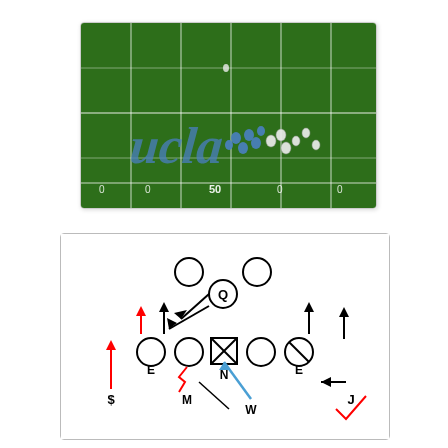[Figure (photo): Aerial view of a UCLA football game on a green field with the UCLA logo visible in the endzone area. Players in blue and white uniforms visible near the 50-yard line.]
[Figure (schematic): American football defensive play diagram showing player positions labeled Q (quarterback), N (nose/center with X box), E (two defensive ends), M (middle linebacker), W (weak-side linebacker), J (outside), $ (strong safety). Arrows indicate player movement directions: red arrows for some defenders, blue arrow for W player, black arrows for others. A zigzag red line near M position.]